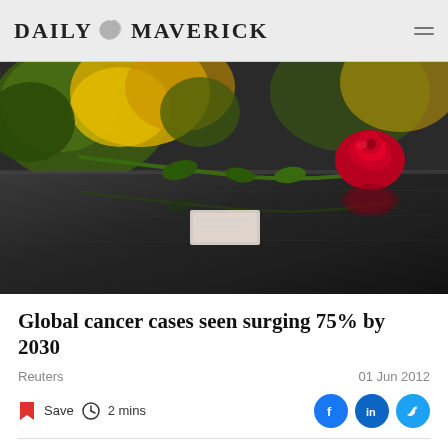DAILY MAVERICK
[Figure (photo): A single red rose lying on a dark reflective stone surface (appears to be a gravestone or memorial), with yellow flowers blurred in the background.]
Global cancer cases seen surging 75% by 2030
Reuters
01 Jun 2012
Save  2 mins